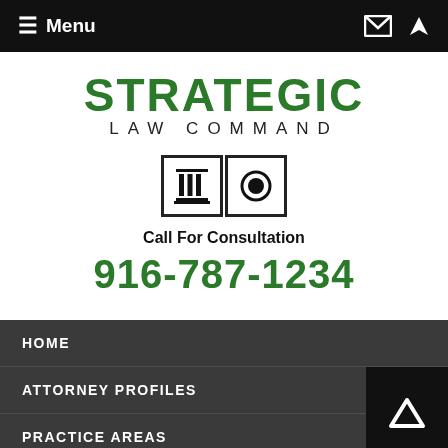≡ Menu
STRATEGIC LAW COMMAND
[Figure (logo): Two icon boxes: a column/pillar icon and a circle/seal icon, both in black bordered squares]
Call For Consultation
916-787-1234
HOME
ATTORNEY PROFILES
PRACTICE AREAS
MORE